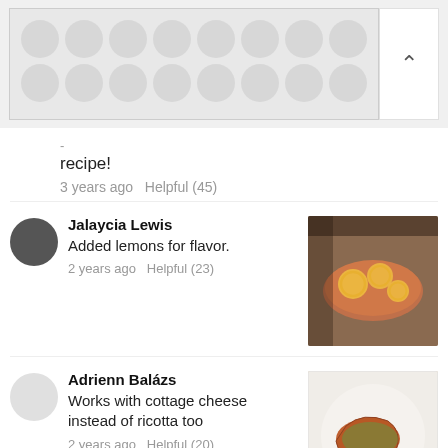[Figure (screenshot): Header banner with polka dot/circle pattern and up-arrow button]
recipe!
3 years ago  Helpful (45)
Jalaycia Lewis
Added lemons for flavor.
2 years ago  Helpful (23)
[Figure (photo): Photo of salmon with lemon slices on top]
Adrienn Balázs
Works with cottage cheese instead of ricotta too
2 years ago  Helpful (20)
[Figure (photo): Photo of a piece of salmon with herb crust on a white plate]
Lakevia Wilcher
Super easy and tastes great!